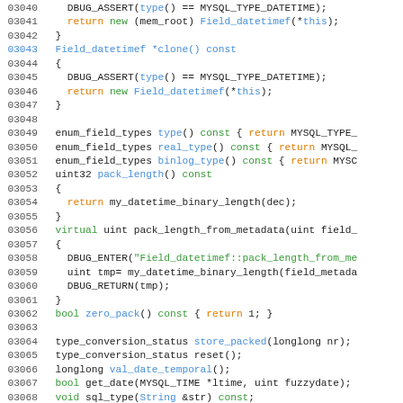[Figure (screenshot): Source code listing in C++ for MySQL Field_datetimef class, lines 03040-03070, showing syntax-highlighted code with line numbers in gray/blue, keywords in orange and green, identifiers in blue.]